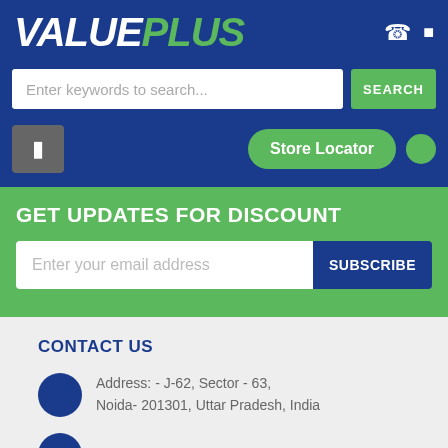VALUEPLUS
Enter keywords to search...
SEARCH
Store Locator
GET UPDATES FOR DISCOUNT
Enter your email address
SUBSCRIBE
CONTACT US
Address: - J-62, Sector - 63, Noida- 201301, Uttar Pradesh, India
0120-4555250